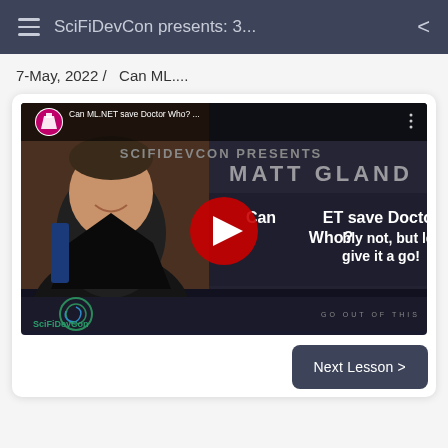SciFiDevCon presents: 3...
7-May, 2022 /  Can ML....
[Figure (screenshot): YouTube video thumbnail for 'Can ML.NET save Doctor Who? ...' featuring a person smiling on the left, a YouTube play button in the center, and text reading 'Can ML.NET save Doctor Who? bly not, but let's give it a go!' with SciFiDevCon branding.]
Next Lesson >